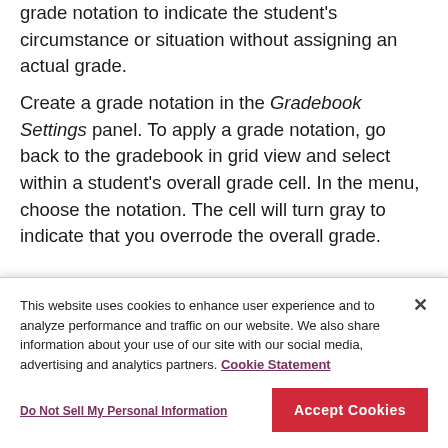grade notation to indicate the student's circumstance or situation without assigning an actual grade.
Create a grade notation in the Gradebook Settings panel. To apply a grade notation, go back to the gradebook in grid view and select within a student's overall grade cell. In the menu, choose the notation. The cell will turn gray to indicate that you overrode the overall grade.
[partial text visible at bottom, cut off by cookie banner]
This website uses cookies to enhance user experience and to analyze performance and traffic on our website. We also share information about your use of our site with our social media, advertising and analytics partners. Cookie Statement
Do Not Sell My Personal Information
Accept Cookies